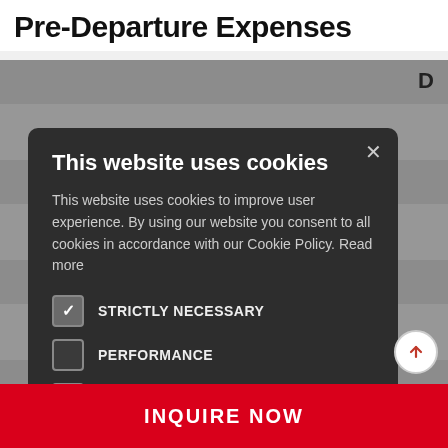Pre-Departure Expenses
[Figure (screenshot): Cookie consent modal dialog on a dark background overlay. The modal has a dark gray (#2d2d2d) background with a close (×) button. Title reads 'This website uses cookies'. Body text: 'This website uses cookies to improve user experience. By using our website you consent to all cookies in accordance with our Cookie Policy. Read more'. Four checkbox rows: STRICTLY NECESSARY (checked), PERFORMANCE (unchecked), TARGETING (unchecked), UNCLASSIFIED (unchecked). Two buttons: 'ACCEPT ALL' (green, pill-shaped) and 'DECLINE ALL' (dark outline, pill-shaped). A white circular scroll-up arrow button is visible at bottom right.]
INQUIRE NOW